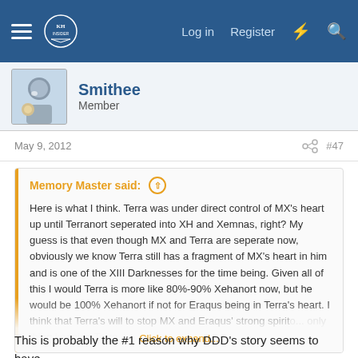Log in  Register
Smithee
Member
May 9, 2012   #47
Memory Master said: ↑

Here is what I think. Terra was under direct control of MX's heart up until Terranort seperated into XH and Xemnas, right? My guess is that even though MX and Terra are seperate now, obviously we know Terra still has a fragment of MX's heart in him and is one of the XIII Darknesses for the time being. Given all of this I would Terra is more like 80%-90% Xehanort now, but he would be 100% Xehanort if not for Eraqus being in Terra's heart. I think that Terra's will to stop MX and Eraqus' strong spirit... Click to expand...
So, even with a 2nd heart on his side, Terra STILL wasn't strong enough to "show Xehanort the door!?"
This is probably the #1 reason why DDD's story seems to have